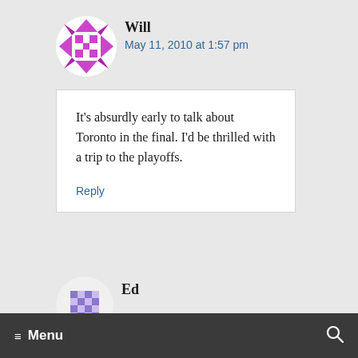[Figure (illustration): Purple/magenta pixel-art avatar icon for user Will]
Will
May 11, 2010 at 1:57 pm
It's absurdly early to talk about Toronto in the final. I'd be thrilled with a trip to the playoffs.
Reply
[Figure (illustration): Purple/blue pixel-art avatar icon for user Ed]
Ed
≡ Menu